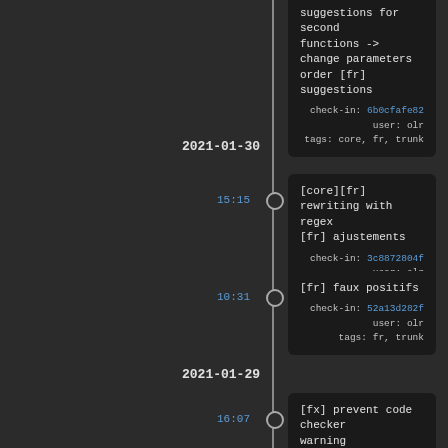suggestions for second functions -> change parameters order [fr] suggestions
check-in: 6b0cfafe82 user: olr
tags: core, fr, trunk
2021-01-30
15:15  [core][fr] rewriting with regex [fr] ajustements
check-in: 3c8872804f user: olr
tags: core, fr, trunk
10:31  [fr] faux positifs
check-in: 52a13d282f user: olr
tags: fr, trunk
2021-01-29
16:07  [fx] prevent code checker warning
check-in: 56d5c851ec user: olr
tags: fx, trunk